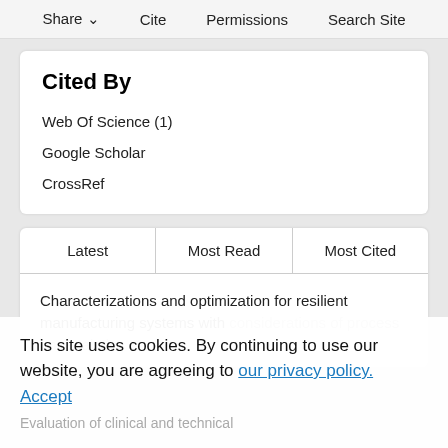Share  Cite  Permissions  Search Site
Cited By
Web Of Science (1)
Google Scholar
CrossRef
Latest  Most Read  Most Cited
Characterizations and optimization for resilient manufacturing systems with considerations of process uncertainties
This site uses cookies. By continuing to use our website, you are agreeing to our privacy policy. Accept